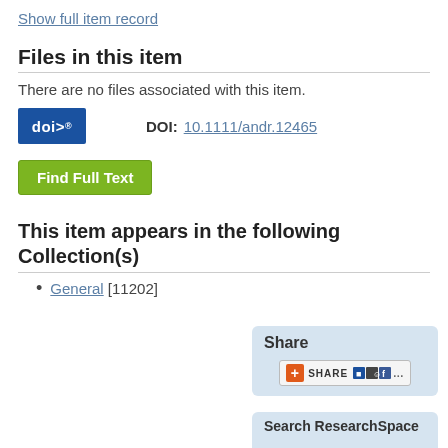Show full item record
Files in this item
There are no files associated with this item.
[Figure (logo): DOI badge logo with blue background showing 'doi>' text]
DOI: 10.1111/andr.12465
Find Full Text
This item appears in the following Collection(s)
General [11202]
Share
[Figure (screenshot): Share widget showing AddThis sharing button with orange plus, SHARE text, and social media icons]
Search ResearchSpace